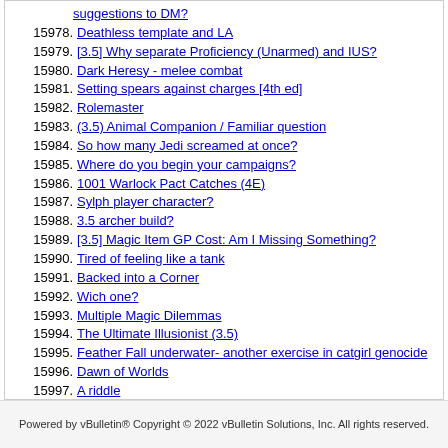suggestions to DM?
15978. Deathless template and LA
15979. [3.5] Why separate Proficiency (Unarmed) and IUS?
15980. Dark Heresy - melee combat
15981. Setting spears against charges [4th ed]
15982. Rolemaster
15983. (3.5) Animal Companion / Familiar question
15984. So how many Jedi screamed at once?
15985. Where do you begin your campaigns?
15986. 1001 Warlock Pact Catches (4E)
15987. Sylph player character?
15988. 3.5 archer build?
15989. [3.5] Magic Item GP Cost: Am I Missing Something?
15990. Tired of feeling like a tank
15991. Backed into a Corner
15992. Wich one?
15993. Multiple Magic Dilemmas
15994. The Ultimate Illusionist (3.5)
15995. Feather Fall underwater- another exercise in catgirl genocide
15996. Dawn of Worlds
15997. A riddle
15998. 4e Armor
15999. Alternate Character Creation Ponderings [3.5e]
16000. How would you react to these houserules?
Powered by vBulletin® Copyright © 2022 vBulletin Solutions, Inc. All rights reserved.